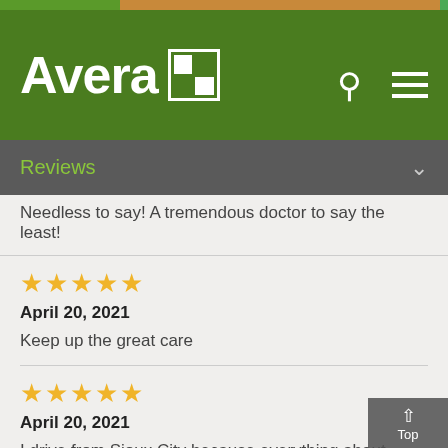[Figure (logo): Avera Health logo with white text 'Avera' and grid icon on green background, with search and menu icons]
Reviews
Needless to say! A tremendous doctor to say the least!
★★★★★
April 20, 2021
Keep up the great care
★★★★★
April 20, 2021
I drive from Sioux City because everything about Avera is top notch. From the time you step in the doors until you leave-everybody is very nice and so helpful. The